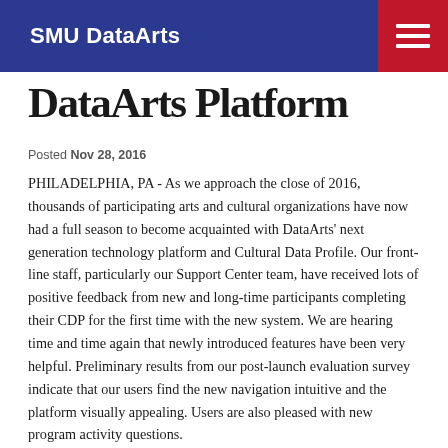SMU DataArts
DataArts Platform
Posted Nov 28, 2016
PHILADELPHIA, PA - As we approach the close of 2016, thousands of participating arts and cultural organizations have now had a full season to become acquainted with DataArts' next generation technology platform and Cultural Data Profile. Our front-line staff, particularly our Support Center team, have received lots of positive feedback from new and long-time participants completing their CDP for the first time with the new system. We are hearing time and time again that newly introduced features have been very helpful. Preliminary results from our post-launch evaluation survey indicate that our users find the new navigation intuitive and the platform visually appealing. Users are also pleased with new program activity questions.